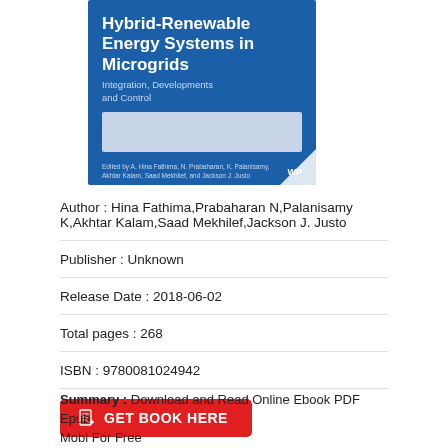[Figure (illustration): Book cover for 'Hybrid-Renewable Energy Systems in Microgrids: Integration, Developments and Control', blue background with white title text, subtitle, and editor names. A page-fold effect is visible at the bottom-right corner.]
Author : Hina Fathima,Prabaharan N,Palanisamy K,Akhtar Kalam,Saad Mekhilef,Jackson J. Justo
Publisher : Unknown
Release Date : 2018-06-02
Total pages : 268
ISBN : 9780081024942
GET BOOK HERE
Summary : Download and Read Online Ebook PDF Epub Mobi For Free